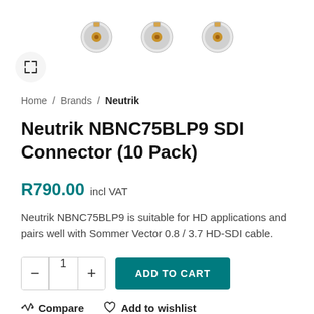[Figure (photo): Three BNC connector plugs (Neutrik NBNC75BLP9) shown at the top of the product page, chrome metal with gold/copper center pins]
Home / Brands / Neutrik
Neutrik NBNC75BLP9 SDI Connector (10 Pack)
R790.00 incl VAT
Neutrik NBNC75BLP9 is suitable for HD applications and pairs well with Sommer Vector 0.8 / 3.7 HD-SDI cable.
Compare   Add to wishlist
SKU: CAB-NBNC75BLP9x10